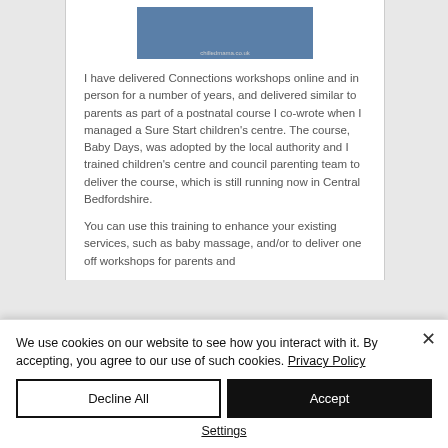[Figure (photo): Image of a baby being held, with 'chilledmama.co.uk' watermark, displayed on a website panel with blue background]
I have delivered Connections workshops online and in person for a number of years, and delivered similar to parents as part of a postnatal course I co-wrote when I managed a Sure Start children's centre. The course, Baby Days, was adopted by the local authority and I trained children's centre and council parenting team to deliver the course, which is still running now in Central Bedfordshire.
You can use this training to enhance your existing services, such as baby massage, and/or to deliver one off workshops for parents and
We use cookies on our website to see how you interact with it. By accepting, you agree to our use of such cookies. Privacy Policy
Decline All
Accept
Settings